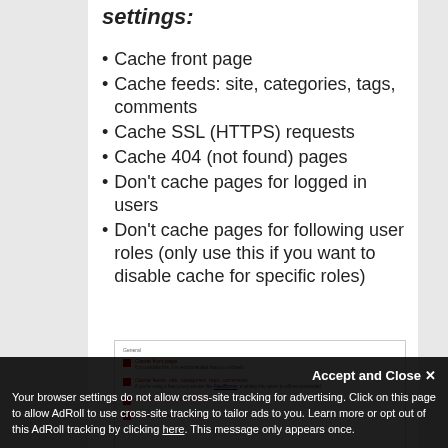settings:
Cache front page
Cache feeds: site, categories, tags, comments
Cache SSL (HTTPS) requests
Cache 404 (not found) pages
Don't cache pages for logged in users
Don't cache pages for following user roles (only use this if you want to disable cache for specific roles)
[Figure (screenshot): Screenshot of cache settings checkboxes including Cache front page, Cache feeds, Cache SSL (HTTPS) requests, and more options]
Accept and Close
Your browser settings do not allow cross-site tracking for advertising. Click on this page to allow AdRoll to use cross-site tracking to tailor ads to you. Learn more or opt out of this AdRoll tracking by clicking here. This message only appears once.